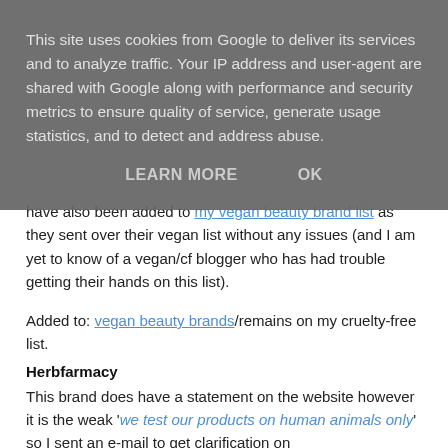This site uses cookies from Google to deliver its services and to analyze traffic. Your IP address and user-agent are shared with Google along with performance and security metrics to ensure quality of service, generate usage statistics, and to detect and address abuse.
LEARN MORE   OK
have also been added to my vegan beauty brand list as they sent over their vegan list without any issues (and I am yet to know of a vegan/cf blogger who has had trouble getting their hands on this list).
Added to: vegan beauty brands/remains on my cruelty-free list.
Herbfarmacy
This brand does have a statement on the website however it is the weak 'we test our products on human animals only' so I sent an e-mail to get clarification on ingredients/finished products and ask which countries they sell in. So far I have not had a response.
Added to: ambiguous statement